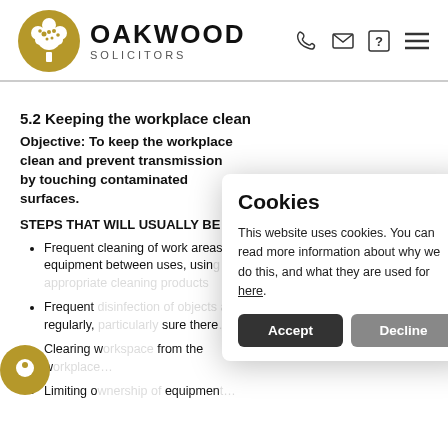OAKWOOD SOLICITORS
5.2 Keeping the workplace clean
Objective: To keep the workplace clean and prevent transmission by touching contaminated surfaces.
STEPS THAT WILL USUALLY BE NEEDED
Frequent cleaning of work areas and equipment between uses, usin…
Frequent … regularly, … sure there…
Clearing w… from the w…
Limiting o… equipment…
[Figure (screenshot): Cookies consent dialog overlay. Title: 'Cookies'. Body text: 'This website uses cookies. You can read more information about why we do this, and what they are used for here.' Two buttons: 'Accept' (dark) and 'Decline' (grey).]